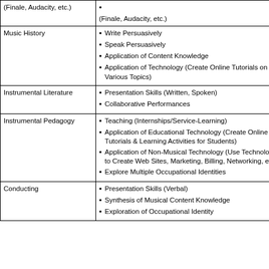| Course | Skills/Activities |
| --- | --- |
| Music History | Write Persuasively
Speak Persuasively
Application of Content Knowledge
Application of Technology (Create Online Tutorials on Various Topics) |
| Instrumental Literature | Presentation Skills (Written, Spoken)
Collaborative Performances |
| Instrumental Pedagogy | Teaching (Internships/Service-Learning)
Application of Educational Technology (Create Online Tutorials & Learning Activities for Students)
Application of Non-Musical Technology (Use Technology to Create Web Sites, Marketing, Billing, Networking, etc.)
Explore Multiple Occupational Identities |
| Conducting | Presentation Skills (Verbal)
Synthesis of Musical Content Knowledge
Exploration of Occupational Identity |